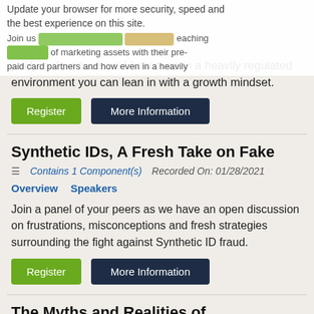Update your browser for more security, speed and the best experience on this site. Join us the best experience on this site. the review of marketing assets with their pre-paid card partners and how even in a heavily regulated environment you can lean in with a growth mindset.
Register   More Information
Synthetic IDs, A Fresh Take on Fake
Contains 1 Component(s)   Recorded On: 01/28/2021
Overview   Speakers
Join a panel of your peers as we have an open discussion on frustrations, misconceptions and fresh strategies surrounding the fight against Synthetic ID fraud.
Register   More Information
The Myths and Realities of STIR/SHAKEN for Inbound Call Centers